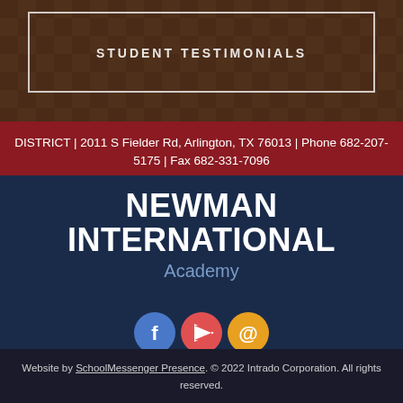[Figure (photo): Chess pieces on a chessboard with a white border overlay and 'STUDENT TESTIMONIALS' text]
DISTRICT | 2011 S Fielder Rd, Arlington, TX 76013 | Phone 682-207-5175 | Fax 682-331-7096
NEWMAN INTERNATIONAL Academy
[Figure (infographic): Three social media icons: Facebook (blue circle with f), YouTube (red circle with play button), Email (orange circle with @ symbol)]
Website by SchoolMessenger Presence. © 2022 Intrado Corporation. All rights reserved.